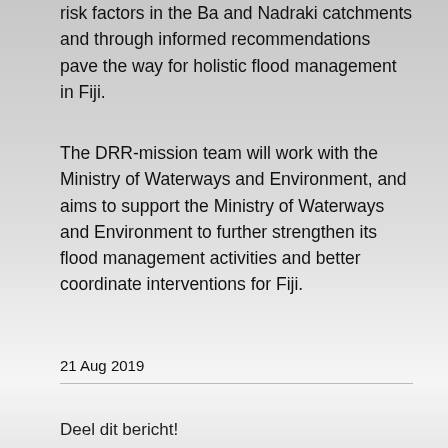risk factors in the Ba and Nadraki catchments and through informed recommendations pave the way for holistic flood management in Fiji.
The DRR-mission team will work with the Ministry of Waterways and Environment, and aims to support the Ministry of Waterways and Environment to further strengthen its flood management activities and better coordinate interventions for Fiji.
21 Aug 2019
Deel dit bericht!